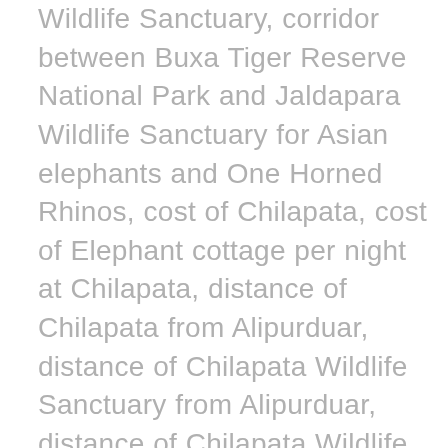Wildlife Sanctuary, corridor between Buxa Tiger Reserve National Park and Jaldapara Wildlife Sanctuary for Asian elephants and One Horned Rhinos, cost of Chilapata, cost of Elephant cottage per night at Chilapata, distance of Chilapata from Alipurduar, distance of Chilapata Wildlife Sanctuary from Alipurduar, distance of Chilapata Wildlife Sanctuary from NJP, distance of Chilapata Wildlife Sanctuary from Siliguri, dooars, dooars in west bengal, doors north bengal, dours tour, eco-friendly tourism, Elephant cottage, Elephant cottage cost, foods at Chilapata, Forest, forest bungalow Chilapata, forest camps in Chilapata, fort of Nalraj, hotels in Chilapata, how many species of reptiles exists in Chilapata Wildlife Sanctuary, how many species of reptiles exists in north bengal, how to go to Chilapata, how to go to Chilapata Wildlife Sanctuary, how to go to Mendabari Camp, how to reach Chilapata, how to